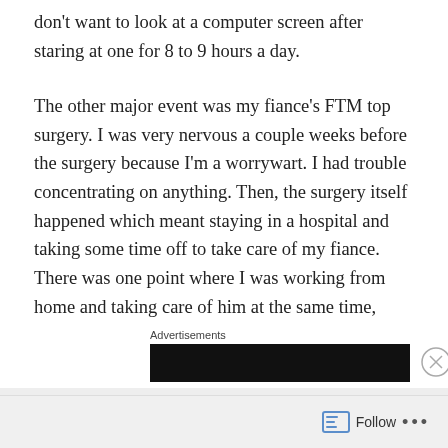don't want to look at a computer screen after staring at one for 8 to 9 hours a day.
The other major event was my fiance's FTM top surgery. I was very nervous a couple weeks before the surgery because I'm a worrywart. I had trouble concentrating on anything. Then, the surgery itself happened which meant staying in a hospital and taking some time off to take care of my fiance. There was one point where I was working from home and taking care of him at the same time, which was hectic. But he is mostly healed now and is much happier with himself, so it was all worth it ❤
Advertisements
[Figure (other): Black advertisement banner rectangle]
Advertisements
Follow ...